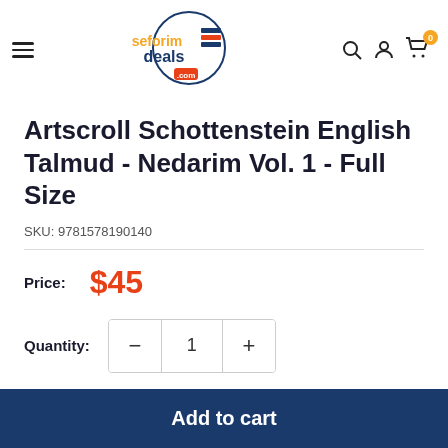[Figure (logo): SeforimDeals.com logo with orange and dark blue text and books graphic inside a circle]
Artscroll Schottenstein English Talmud - Nedarim Vol. 1 - Full Size
SKU: 9781578190140
Price: $45
Quantity: 1
Add to cart